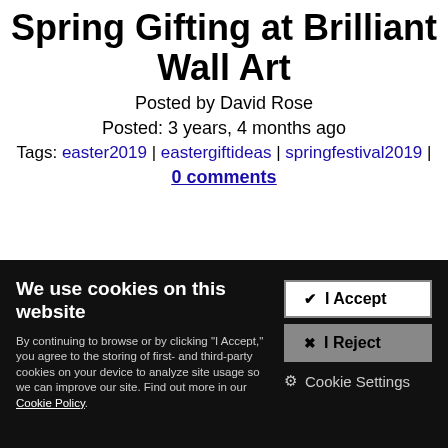Spring Gifting at Brilliant Wall Art
Posted by David Rose
Posted: 3 years, 4 months ago
Tags: easter2019 | eastergiftideas | springfestival2019 |
0 comments
Featuring a selection of the Christie's works for this…
We use cookies on this website
By continuing to browse or by clicking "I Accept," you agree to the storing of first- and third-party cookies on your device to analyze site usage so we can improve our site. Find out more in our Cookie Policy.